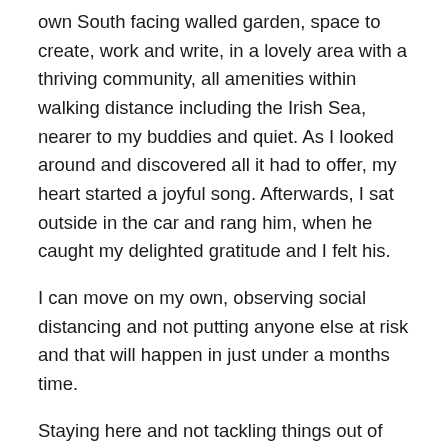own South facing walled garden, space to create, work and write, in a lovely area with a thriving community, all amenities within walking distance including the Irish Sea, nearer to my buddies and quiet. As I looked around and discovered all it had to offer, my heart started a joyful song. Afterwards, I sat outside in the car and rang him, when he caught my delighted gratitude and I felt his.
I can move on my own, observing social distancing and not putting anyone else at risk and that will happen in just under a months time.
Staying here and not tackling things out of fear, blocked so much and I can see that now. I used to call this ‘my happy bubble’ being next to the water and with the loving connections of neighbours. Nothing happens in isolation and with me thinking I could handle it, that draining energy leaked into everything and the air in my bubble